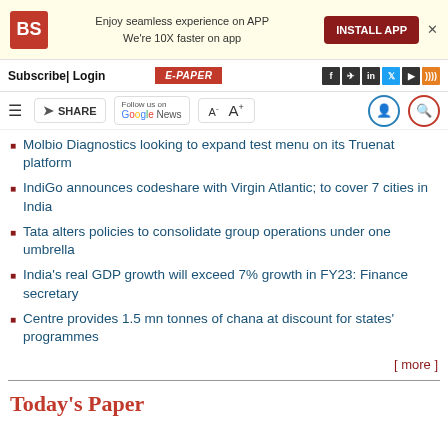Enjoy seamless experience on APP We're 10X faster on app | INSTALL APP
Subscribe | Login | E-PAPER
SHARE | Follow us on Google News | A- A+
Molbio Diagnostics looking to expand test menu on its Truenat platform
IndiGo announces codeshare with Virgin Atlantic; to cover 7 cities in India
Tata alters policies to consolidate group operations under one umbrella
India's real GDP growth will exceed 7% growth in FY23: Finance secretary
Centre provides 1.5 mn tonnes of chana at discount for states' programmes
[ more ]
Today's Paper